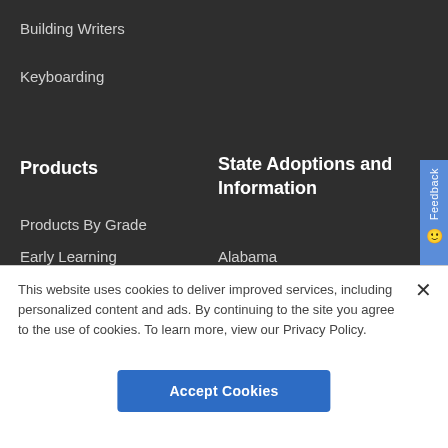Building Writers
Keyboarding
Products
State Adoptions and Information
Products By Grade
Early Learning
Alabama
This website uses cookies to deliver improved services, including personalized content and ads. By continuing to the site you agree to the use of cookies. To learn more, view our Privacy Policy.
Accept Cookies